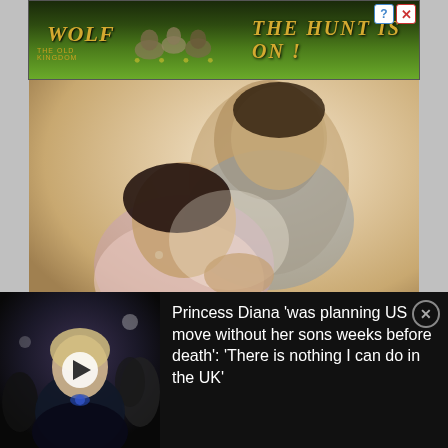[Figure (photo): Wolf Game advertisement banner with dark forest background, wolves, golden text 'WOLF' and 'THE HUNT IS ON!' with close/help buttons]
[Figure (photo): A couple in a romantic embrace, vintage-style warm photograph, man and woman smiling at each other]
[Figure (photo): News thumbnail showing Princess Diana in black dress with play button overlay]
Princess Diana 'was planning US move without her sons weeks before death': 'There is nothing I can do in the UK'